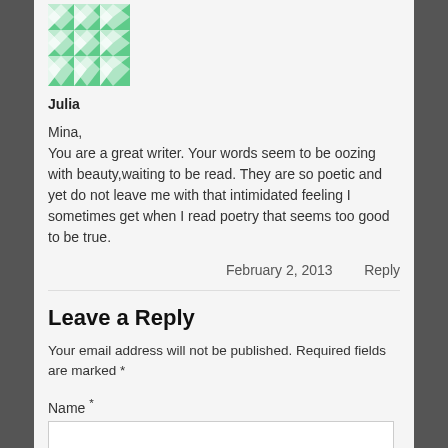[Figure (illustration): Green and white geometric/mosaic avatar icon for user Julia]
Julia
Mina,
You are a great writer. Your words seem to be oozing with beauty,waiting to be read. They are so poetic and yet do not leave me with that intimidated feeling I sometimes get when I read poetry that seems too good to be true.
February 2, 2013   Reply
Leave a Reply
Your email address will not be published. Required fields are marked *
Name *
Email *